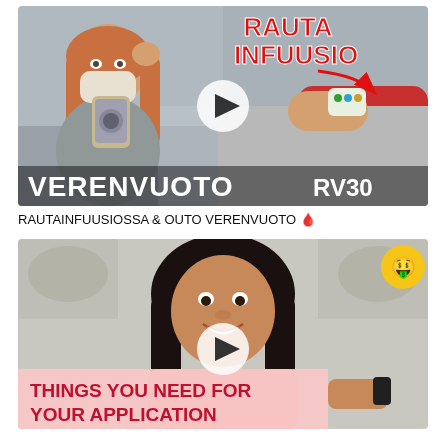[Figure (screenshot): Video thumbnail: woman in medical mask taking selfie on left; arm with IV/infusion cannula on right; red bold text 'RAUTA INFUUSIO' at top; white bold text 'VERENVUOTO RV30' at bottom; white play button in center]
RAUTAINFUUSIOSSA & OUTO VERENVUOTO 🩸
[Figure (screenshot): Video thumbnail: smiling woman with long dark hair in pink shirt; grunge/dirty wall background; money-mouth emoji top right; pink banner at bottom with red bold text 'THINGS YOU NEED FOR YOUR APPLICATION'; white play button in center]